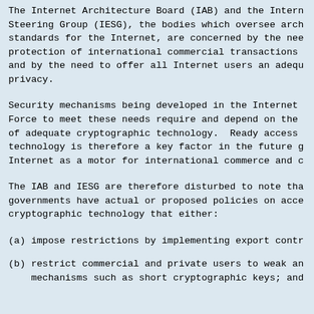The Internet Architecture Board (IAB) and the Internet Engineering Steering Group (IESG), the bodies which oversee architecture and standards for the Internet, are concerned by the need for protection of international commercial transactions and by the need to offer all Internet users an adequate level of privacy.
Security mechanisms being developed in the Internet Engineering Task Force to meet these needs require and depend on the wide availability of adequate cryptographic technology. Ready access to cryptographic technology is therefore a key factor in the future growth of the Internet as a motor for international commerce and communications.
The IAB and IESG are therefore disturbed to note that many governments have actual or proposed policies on access to cryptographic technology that either:
(a) impose restrictions by implementing export controls
(b) restrict commercial and private users to weak and inadequate mechanisms such as short cryptographic keys; and